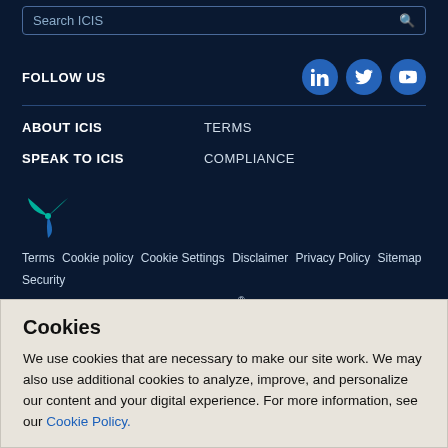Search ICIS
FOLLOW US
[Figure (logo): LinkedIn, Twitter, YouTube social media icons as blue circular buttons]
ABOUT ICIS
TERMS
SPEAK TO ICIS
COMPLIANCE
[Figure (logo): ICIS/LexisNexis pinwheel logo in teal and green]
Terms  Cookie policy  Cookie Settings  Disclaimer  Privacy Policy  Sitemap  Security
ICIS is part of the LexisNexis® Risk Solutions Group
Cookies
We use cookies that are necessary to make our site work. We may also use additional cookies to analyze, improve, and personalize our content and your digital experience. For more information, see our Cookie Policy.